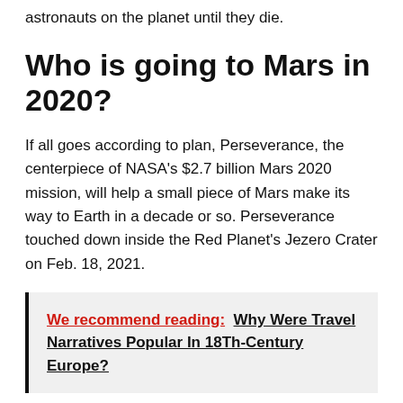astronauts on the planet until they die.
Who is going to Mars in 2020?
If all goes according to plan, Perseverance, the centerpiece of NASA's $2.7 billion Mars 2020 mission, will help a small piece of Mars make its way to Earth in a decade or so. Perseverance touched down inside the Red Planet's Jezero Crater on Feb. 18, 2021.
We recommend reading:  Why Were Travel Narratives Popular In 18Th-Century Europe?
Does Mars have oxygen?